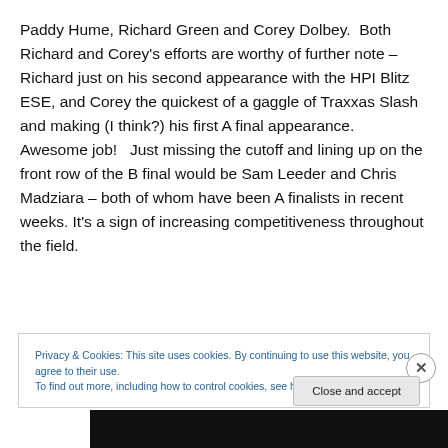Paddy Hume, Richard Green and Corey Dolbey.  Both Richard and Corey's efforts are worthy of further note – Richard just on his second appearance with the HPI Blitz ESE, and Corey the quickest of a gaggle of Traxxas Slash and making (I think?) his first A final appearance.  Awesome job!   Just missing the cutoff and lining up on the front row of the B final would be Sam Leeder and Chris Madziara – both of whom have been A finalists in recent weeks. It's a sign of increasing competitiveness throughout the field.
Privacy & Cookies: This site uses cookies. By continuing to use this website, you agree to their use.
To find out more, including how to control cookies, see here: Cookie Policy